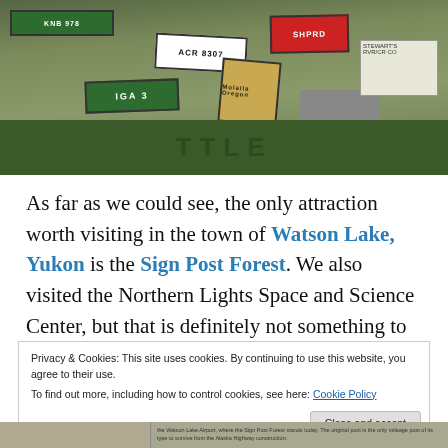[Figure (photo): Photo of the Sign Post Forest in Watson Lake, Yukon — a large collection of road signs, license plates, and handmade signs on posts, with a miniature military truck visible.]
As far as we could see, the only attraction worth visiting in the town of Watson Lake, Yukon is the Sign Post Forest. We also visited the Northern Lights Space and Science Center, but that is definitely not something to write home about.
Privacy & Cookies: This site uses cookies. By continuing to use this website, you agree to their use.
To find out more, including how to control cookies, see here: Cookie Policy
Close and accept
[Figure (photo): Partial photo at bottom showing a sign and text about the Watson Lake Airport where the Sign Post Forest stands today.]